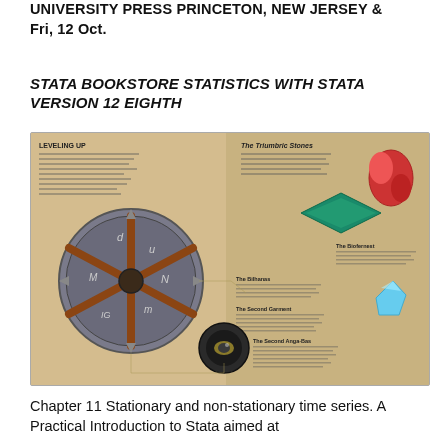UNIVERSITY PRESS PRINCETON, NEW JERSEY &
Fri, 12 Oct.
STATA BOOKSTORE STATISTICS WITH STATA VERSION 12 EIGHTH
[Figure (illustration): A fantasy game book illustration showing a 'Leveling Up' page spread with a circular rune wheel/medallion on the left, and 'The Triumbric Stones' descriptions on the right with colored stone illustrations (red, green/teal diamond, blue crystal, and a dark orb/eye). Multiple descriptive text blocks label each stone including 'The Biofernest', 'The Bilhanas', 'The Second Garment', and 'The Second Anga-Bas'.]
Chapter 11 Stationary and non-stationary time series. A Practical Introduction to Stata aimed at